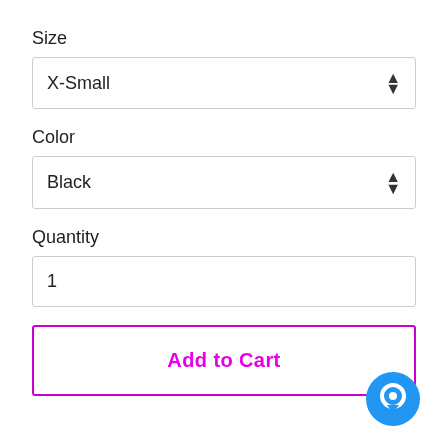Size
[Figure (screenshot): Dropdown select field showing 'X-Small' with up/down arrow indicator]
Color
[Figure (screenshot): Dropdown select field showing 'Black' with up/down arrow indicator]
Quantity
[Figure (screenshot): Text input field showing value '1']
[Figure (screenshot): Add to Cart button with magenta/pink border and bold magenta text]
[Figure (illustration): Blue circular chat bubble icon in bottom right corner]